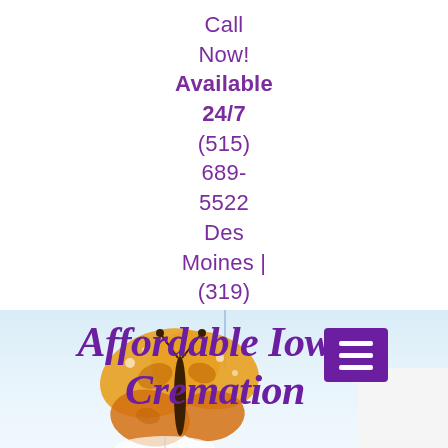Call Now! Available 24/7 (515) 689-5522 Des Moines | (319) 853-8181 North Liberty
[Figure (illustration): Gradient light blue banner background with butterfly illustration and the Affordable Iowa Cremation logo text in bold italic purple, with a purple hamburger menu button overlay.]